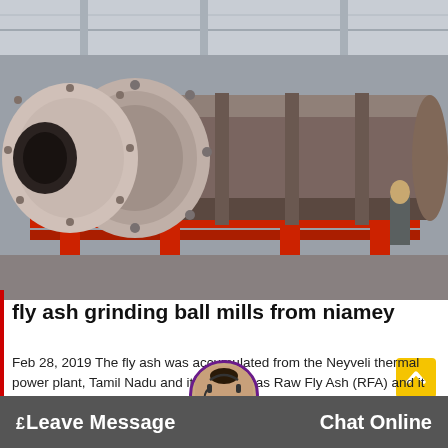[Figure (photo): Large industrial ball mill / grinding mill cylinder on red support frames inside a factory warehouse. The large cylindrical metal drum is shown horizontally with bolted flanges and a conical input end on the left.]
fly ash grinding ball mills from niamey
Feb 28, 2019 The fly ash was accumulated from the Neyveli thermal power plant, Tamil Nadu and it is named as Raw Fly Ash (RFA) and it is havi…pecific Gravity of 2.67....